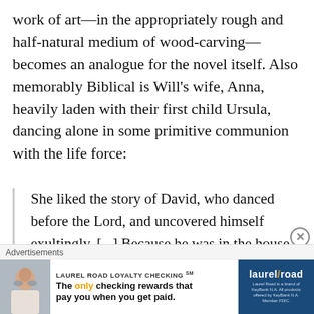work of art—in the appropriately rough and half-natural medium of wood-carving—becomes an analogue for the novel itself. Also memorably Biblical is Will's wife, Anna, heavily laden with their first child Ursula, dancing alone in some primitive communion with the life force:
She liked the story of David, who danced before the Lord, and uncovered himself exultingly. [...] Because he was in the house, she had to dance before her Creator in
[Figure (other): Advertisement for Laurel Road Loyalty Checking with photo of woman, tagline 'The only checking rewards that pay you when you get paid.' and Laurel Road brand logo on dark blue background.]